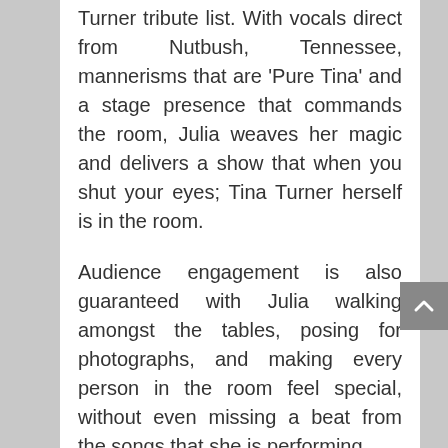Turner tribute list. With vocals direct from Nutbush, Tennessee, mannerisms that are 'Pure Tina' and a stage presence that commands the room, Julia weaves her magic and delivers a show that when you shut your eyes; Tina Turner herself is in the room.
Audience engagement is also guaranteed with Julia walking amongst the tables, posing for photographs, and making every person in the room feel special, without even missing a beat from the songs that she is performing.
Tina is so totally unique that it is important to capture more than just the voice, without the Tina mannerisms, it just would not be Tina. The stage costumes play such an important